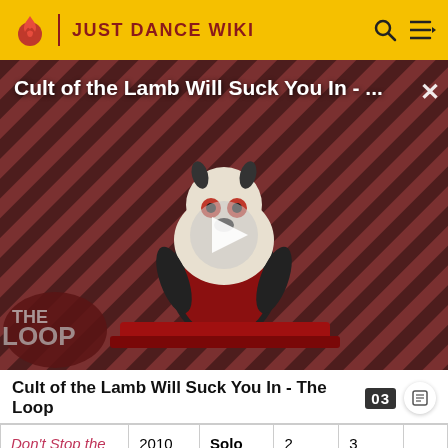JUST DANCE WIKI
[Figure (screenshot): Video thumbnail for 'Cult of the Lamb Will Suck You In - The Loop' showing a cartoon lamb character on a red striped background with a play button overlay and 'THE LOOP' text badge]
Cult of the Lamb Will Suck You In - The Loop
| Don't Stop the Party | 2010 | Solo | 2 | 3 |